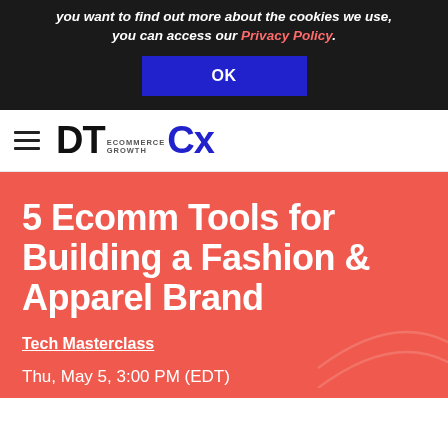you want to find out more about the cookies we use, you can access our Privacy Policy.
OK
[Figure (logo): DT CX Ecommerce Growth logo — hamburger menu icon on left, then DT in black bold, CX in blue bold, with 'ECOMMERCE GROWTH' in small text above CX]
5 Ecomm Tools for Building a Fashion & Apparel Brand
Tech Masterclass
Thu, May 5, 3:00 PM (EDT)